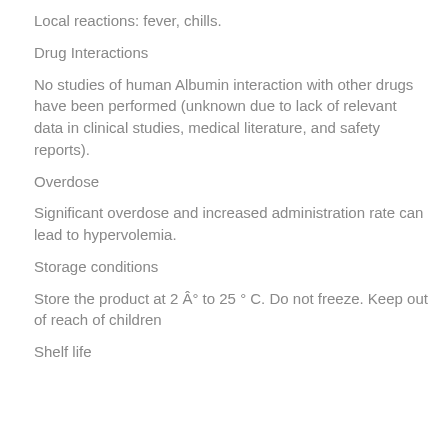Local reactions: fever, chills.
Drug Interactions
No studies of human Albumin interaction with other drugs have been performed (unknown due to lack of relevant data in clinical studies, medical literature, and safety reports).
Overdose
Significant overdose and increased administration rate can lead to hypervolemia.
Storage conditions
Store the product at 2 Â° to 25 ° C. Do not freeze. Keep out of reach of children
Shelf life
...